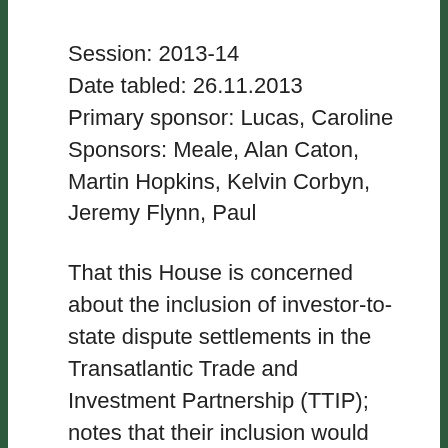Session: 2013-14
Date tabled: 26.11.2013
Primary sponsor: Lucas, Caroline
Sponsors: Meale, Alan Caton, Martin Hopkins, Kelvin Corbyn, Jeremy Flynn, Paul
That this House is concerned about the inclusion of investor-to-state dispute settlements in the Transatlantic Trade and Investment Partnership (TTIP); notes that their inclusion would enable foreign investors to file complaints against a national government whenever investors perceive a violation of their rights and that